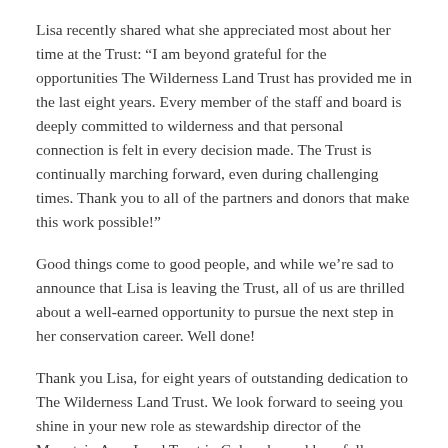Lisa recently shared what she appreciated most about her time at the Trust: “I am beyond grateful for the opportunities The Wilderness Land Trust has provided me in the last eight years. Every member of the staff and board is deeply committed to wilderness and that personal connection is felt in every decision made. The Trust is continually marching forward, even during challenging times. Thank you to all of the partners and donors that make this work possible!”
Good things come to good people, and while we’re sad to announce that Lisa is leaving the Trust, all of us are thrilled about a well-earned opportunity to pursue the next step in her conservation career. Well done!
Thank you Lisa, for eight years of outstanding dedication to The Wilderness Land Trust. We look forward to seeing you shine in your new role as stewardship director of the Mountain Area Land Trust in Colorado, and hopefully partnering on a future project together.